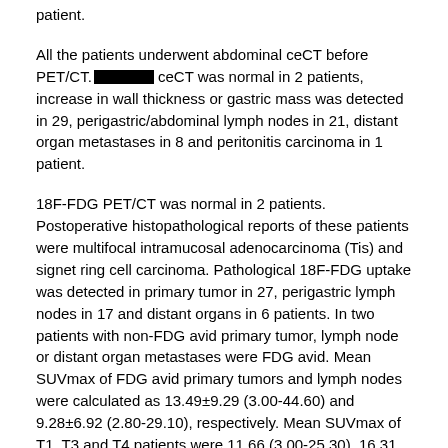patient.
All the patients underwent abdominal ceCT before PET/CT. [REDACTED] ceCT was normal in 2 patients, increase in wall thickness or gastric mass was detected in 29, perigastric/abdominal lymph nodes in 21, distant organ metastases in 8 and peritonitis carcinoma in 1 patient.
18F-FDG PET/CT was normal in 2 patients. Postoperative histopathological reports of these patients were multifocal intramucosal adenocarcinoma (Tis) and signet ring cell carcinoma. Pathological 18F-FDG uptake was detected in primary tumor in 27, perigastric lymph nodes in 17 and distant organs in 6 patients. In two patients with non-FDG avid primary tumor, lymph node or distant organ metastases were FDG avid. Mean SUVmax of FDG avid primary tumors and lymph nodes were calculated as 13.49±9.29 (3.00-44.60) and 9.28±6.92 (2.80-29.10), respectively. Mean SUVmax of T1, T3 and T4 patients were 11.66 (3.00-25.30), 16.31 (4.60-44.60) and 10.32 (5.5-18.70), respectively (p=0.824). According to comparison of histopathological subtypes, mean